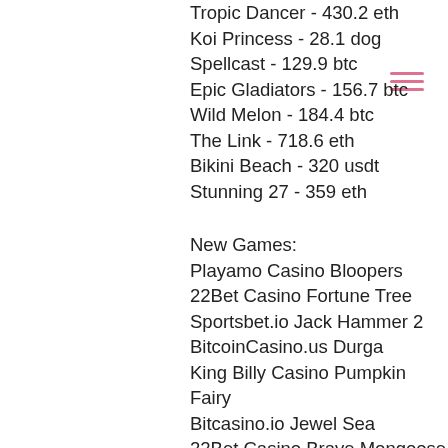Tropic Dancer - 430.2 eth
Koi Princess - 28.1 dog
Spellcast - 129.9 btc
Epic Gladiators - 156.7 btc
Wild Melon - 184.4 btc
The Link - 718.6 eth
Bikini Beach - 320 usdt
Stunning 27 - 359 eth
New Games:
Playamo Casino Bloopers
22Bet Casino Fortune Tree
Sportsbet.io Jack Hammer 2
BitcoinCasino.us Durga
King Billy Casino Pumpkin Fairy
Bitcasino.io Jewel Sea
22Bet Casino Brave Mongoose
BitStarz Casino Disc of Athena
Syndicate Casino Vegas Nights
1xBit Casino Dracula Riches